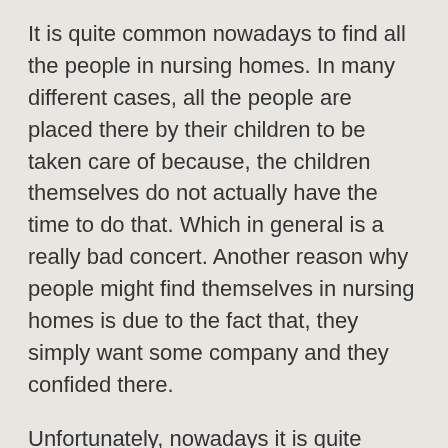It is quite common nowadays to find all the people in nursing homes. In many different cases, all the people are placed there by their children to be taken care of because, the children themselves do not actually have the time to do that. Which in general is a really bad concert. Another reason why people might find themselves in nursing homes is due to the fact that, they simply want some company and they confided there.
Unfortunately, nowadays it is quite common to hear about several different cases of abuse in nursing homes which is most certainly one of the worst crimes anyone can possibly commit. All the people deserve respect not to be treated badly. If you actually live in a nursing home and you are being treated badly then you need to make sure that you're going to be able to find the la...